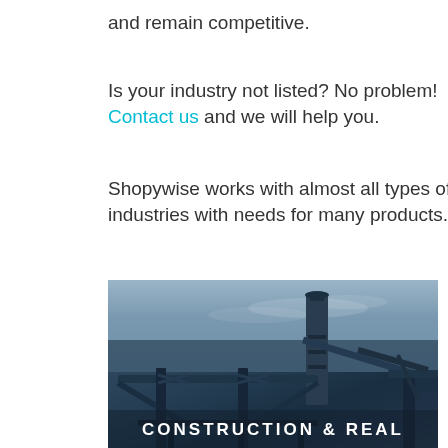and remain competitive.
Is your industry not listed? No problem! Contact us and we will help you.
Shopywise works with almost all types of industries with needs for many products.
[Figure (photo): Industrial construction photo showing metal scaffolding, cranes, and a tall chimney/smokestack against a cloudy sky, with a dark blue-grey color tone overlay.]
CONSTRUCTION & REAL